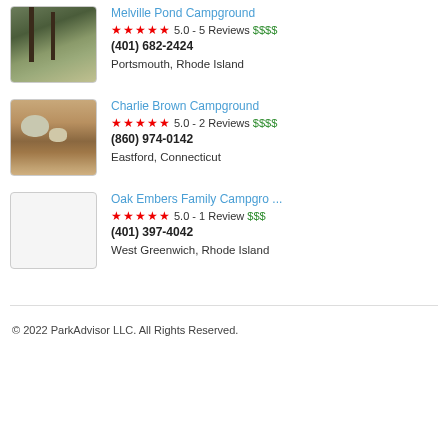[Figure (photo): Thumbnail photo of Melville Pond Campground showing trees in a wooded area]
Melville Pond Campground
★★★★★ 5.0 - 5 Reviews $$$$
(401) 682-2424
Portsmouth, Rhode Island
[Figure (photo): Thumbnail photo of Charlie Brown Campground showing rocks and soil]
Charlie Brown Campground
★★★★★ 5.0 - 2 Reviews $$$$
(860) 974-0142
Eastford, Connecticut
[Figure (photo): Blank/placeholder thumbnail for Oak Embers Family Campground]
Oak Embers Family Campgro ...
★★★★★ 5.0 - 1 Review $$$
(401) 397-4042
West Greenwich, Rhode Island
© 2022 ParkAdvisor LLC. All Rights Reserved.